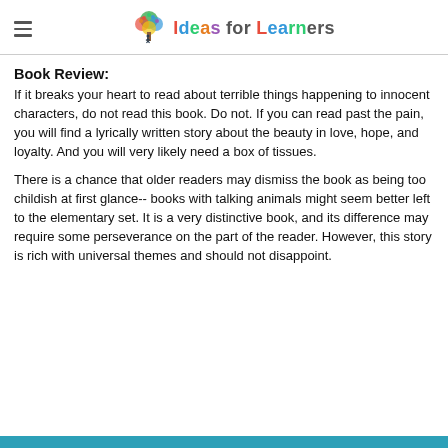Ideas for Learners
Book Review:
If it breaks your heart to read about terrible things happening to innocent characters, do not read this book. Do not. If you can read past the pain, you will find a lyrically written story about the beauty in love, hope, and loyalty. And you will very likely need a box of tissues.
There is a chance that older readers may dismiss the book as being too childish at first glance-- books with talking animals might seem better left to the elementary set. It is a very distinctive book, and its difference may require some perseverance on the part of the reader. However, this story is rich with universal themes and should not disappoint.